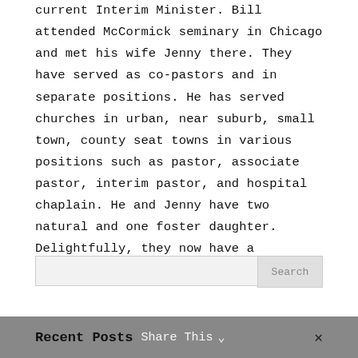current Interim Minister. Bill attended McCormick seminary in Chicago and met his wife Jenny there. They have served as co-pastors and in separate positions. He has served churches in urban, near suburb, small town, county seat towns in various positions such as pastor, associate pastor, interim pastor, and hospital chaplain. He and Jenny have two natural and one foster daughter. Delightfully, they now have a granddaughter to enjoy.
Search
Recent Posts  Share This  ✕